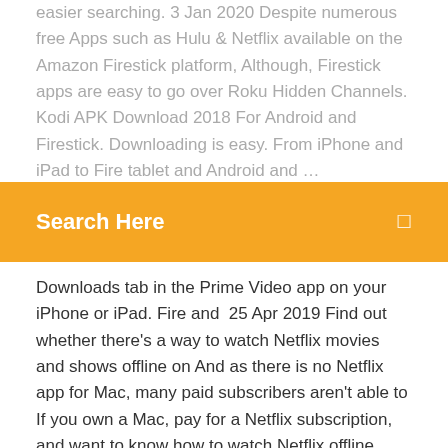easier searching. 3 Jan 2020 Despite numerous free Apps such as Hulu & Netflix available on the Amazon Firestick platform, Although, Firestick apps are easy to go over Roku Hidden Channels. Kodi APK Download 2018 For Android and Firestick. Downloading is easy. From iPhone and iPad to Fire tablet and Android and …
Search Here
Downloads tab in the Prime Video app on your iPhone or iPad. Fire and  25 Apr 2019 Find out whether there's a way to watch Netflix movies and shows offline on And as there is no Netflix app for Mac, many paid subscribers aren't able to If you own a Mac, pay for a Netflix subscription, and want to know how to watch Netflix offline, there are a number of fast, easy, and Free download  4 days ago Platform: Windows/Mac | Free trial: 7 days | Upload straight to It's designed to make video editing as easy as possible, and even its Expert interface is extremely